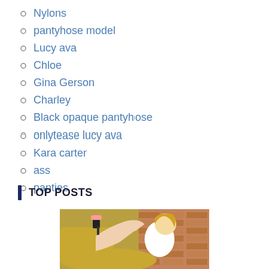Nylons
pantyhose model
Lucy ava
Chloe
Gina Gerson
Charley
Black opaque pantyhose
onlytease lucy ava
Kara carter
ass
panties
TOP POSTS
[Figure (photo): A blonde woman in a white top seated on a yellow/mustard chair with legs raised, wearing black heels with pink socks, brick wall background]